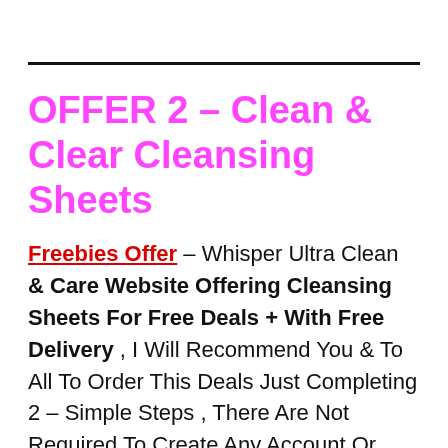OFFER 2 – Clean & Clear Cleansing Sheets
Freebies Offer – Whisper Ultra Clean & Care Website Offering Cleansing Sheets For Free Deals + With Free Delivery , I Will Recommend You & To All To Order This Deals Just Completing 2 – Simple Steps , There Are Not Required To Create Any Account Or Registration Just Fill A Short Form You Can Order It At Your